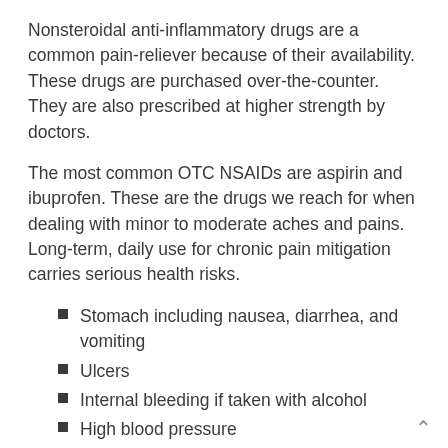Nonsteroidal anti-inflammatory drugs are a common pain-reliever because of their availability. These drugs are purchased over-the-counter. They are also prescribed at higher strength by doctors.
The most common OTC NSAIDs are aspirin and ibuprofen. These are the drugs we reach for when dealing with minor to moderate aches and pains. Long-term, daily use for chronic pain mitigation carries serious health risks.
Stomach including nausea, diarrhea, and vomiting
Ulcers
Internal bleeding if taken with alcohol
High blood pressure
Increased risk of stroke or heart attack
Risk of kidney damage/failure